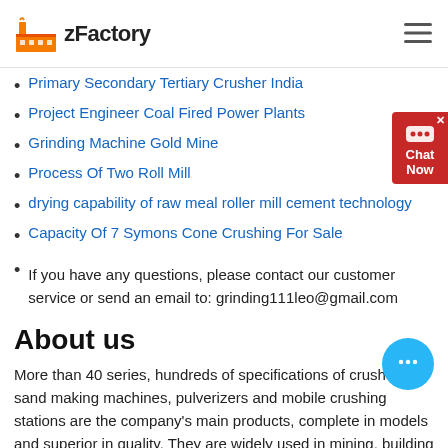zFactory
Primary Secondary Tertiary Crusher India
Project Engineer Coal Fired Power Plants
Grinding Machine Gold Mine
Process Of Two Roll Mill
drying capability of raw meal roller mill cement technology
Capacity Of 7 Symons Cone Crushing For Sale
If you have any questions, please contact our customer service or send an email to: grinding111leo@gmail.com
About us
More than 40 series, hundreds of specifications of crushers, sand making machines, pulverizers and mobile crushing stations are the company’s main products, complete in models and superior in quality. They are widely used in mining, building materials, highways, bridges, coal, and chemicals. , Metallurgy, refractory materials and other fields.